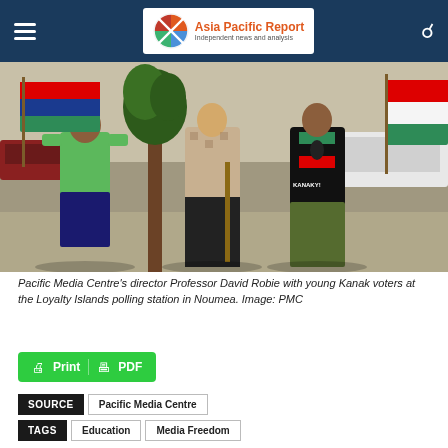Asia Pacific Report — Independent news and analysis
[Figure (photo): Three people standing outdoors holding flags, including Kanak flags. The person on the right wears a black vest with 'KANAKY!' text and a Kanak flag emblem. They are standing near a tree in what appears to be a parking area in Noumea.]
Pacific Media Centre's director Professor David Robie with young Kanak voters at the Loyalty Islands polling station in Noumea. Image: PMC
[Figure (other): Print and PDF button in green]
SOURCE   Pacific Media Centre
TAGS   Education   Media Freedom